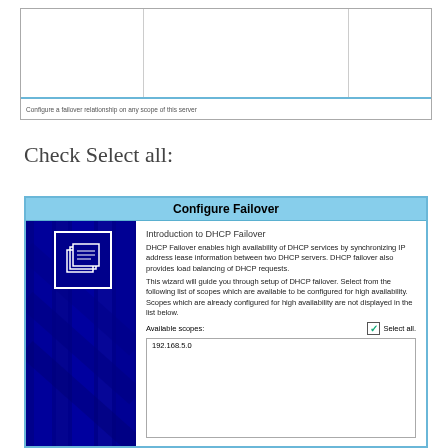[Figure (screenshot): Top portion of a Windows DHCP Manager dialog showing a table with columns and a status bar reading 'Configure a failover relationship on any scope of this server']
Check Select all:
[Figure (screenshot): Configure Failover wizard dialog. Title bar: 'Configure Failover'. Left panel: dark blue background with folder icon. Right panel: Introduction to DHCP Failover text explaining high availability and load balancing. Available scopes section with 'Select all' checkbox checked and listbox showing '192.168.5.0']